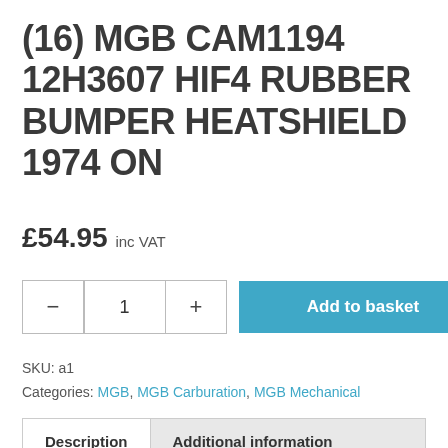(16) MGB CAM1194 12H3607 HIF4 RUBBER BUMPER HEATSHIELD 1974 ON
£54.95 inc VAT
SKU: a1
Categories: MGB, MGB Carburation, MGB Mechanical
Description | Additional information